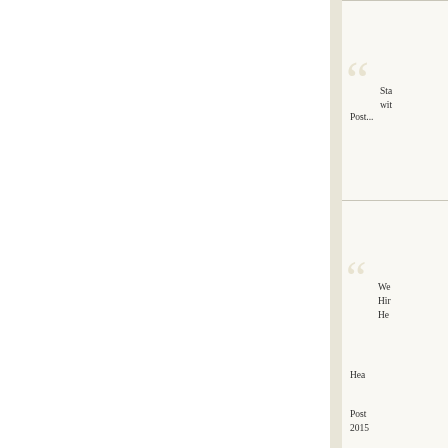Sta... wit...
Post...
We... Hir... He...
Hea...
Post... 2015...